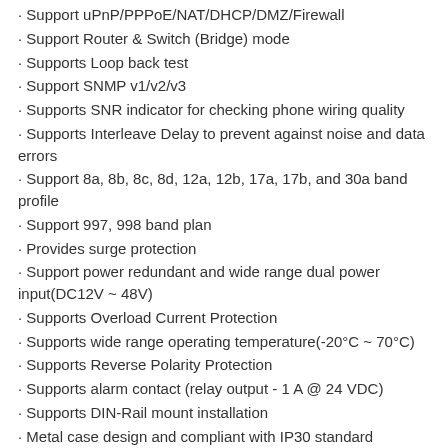· Support uPnP/PPPoE/NAT/DHCP/DMZ/Firewall
· Support Router & Switch (Bridge) mode
· Supports Loop back test
· Support SNMP v1/v2/v3
· Supports SNR indicator for checking phone wiring quality
· Supports Interleave Delay to prevent against noise and data errors
· Support 8a, 8b, 8c, 8d, 12a, 12b, 17a, 17b, and 30a band profile
· Support 997, 998 band plan
· Provides surge protection
· Support power redundant and wide range dual power input(DC12V ~ 48V)
· Supports Overload Current Protection
· Supports wide range operating temperature(-20°C ~ 70°C)
· Supports Reverse Polarity Protection
· Supports alarm contact (relay output - 1 A @ 24 VDC)
· Supports DIN-Rail mount installation
· Metal case design and compliant with IP30 standard
Product Specifications
Standard:
IEEE802.3 standard